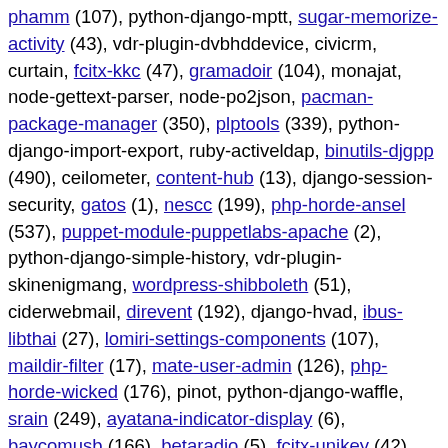phamm (107), python-django-mptt, sugar-memorize-activity (43), vdr-plugin-dvbhddevice, civicrm, curtain, fcitx-kkc (47), gramadoir (104), monajat, node-gettext-parser, node-po2json, pacman-package-manager (350), plptools (339), python-django-import-export, ruby-activeldap, binutils-djgpp (490), ceilometer, content-hub (13), django-session-security, gatos (1), nescc (199), php-horde-ansel (537), puppet-module-puppetlabs-apache (2), python-django-simple-history, vdr-plugin-skinenigmang, wordpress-shibboleth (51), ciderwebmail, direvent (192), django-hvad, ibus-libthai (27), lomiri-settings-components (107), maildir-filter (17), mate-user-admin (126), php-horde-wicked (176), pinot, python-django-waffle, srain (249), ayatana-indicator-display (6), baycomusb (166), betaradio (5), fcitx-unikey (42), gettext-ant-tasks, golang-github-gosexy-gettext, liblog-report-lexicon-perl, lunar-calendar, maliit-keyboard (61), microdc2 (401), open-infrastructure-system-tools (232), php-horde-whups (575), python-django-crispy-forms-foundation, rbac-client-clojure (10), rtpg (22), trapperkeeper-authorization